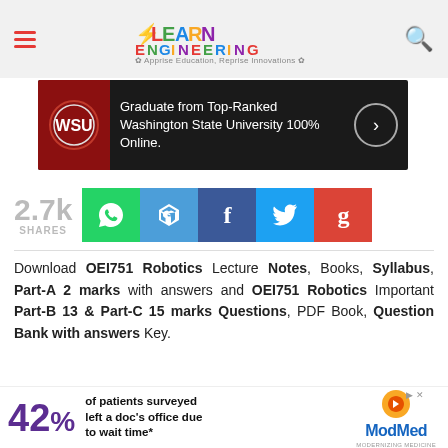Learn Engineering — Apprise Education, Reprise Innovations
[Figure (infographic): Advertisement banner: Graduate from Top-Ranked Washington State University 100% Online.]
2.7k SHARES — WhatsApp, Telegram, Facebook, Twitter, Google+ share buttons
Download OEI751 Robotics Lecture Notes, Books, Syllabus, Part-A 2 marks with answers and OEI751 Robotics Important Part-B 13 & Part-C 15 marks Questions, PDF Book, Question Bank with answers Key.
...ad link is provided below to ensure for the Students to
[Figure (infographic): Advertisement: 42% of patients surveyed left a doc's office due to wait time* — ModMed]